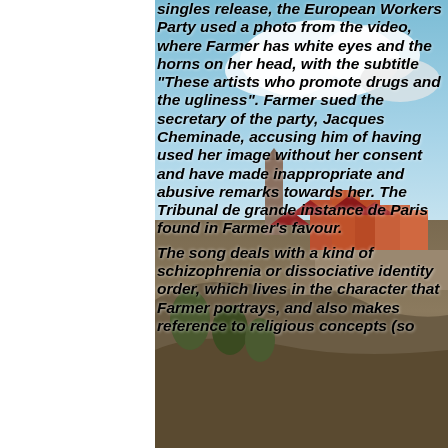[Figure (photo): Background photograph of a coastal European town with red-roofed buildings, a church tower, and a blue sky with clouds, viewed from an elevated angle. A white panel covers the left portion of the image.]
singles release, the European Workers Party used a photo from the video, where Farmer has white eyes and the horns on her head, with the subtitle "These artists who promote drugs and the ugliness". Farmer sued the secretary of the party, Jacques Cheminade, accusing him of having used her image without her consent and have made inappropriate and abusive remarks towards her. The Tribunal de grande instance de Paris found in Farmer's favour.
The song deals with a kind of schizophrenia or dissociative identity order, which lives in the character that Farmer portrays, and also makes reference to religious concepts (so